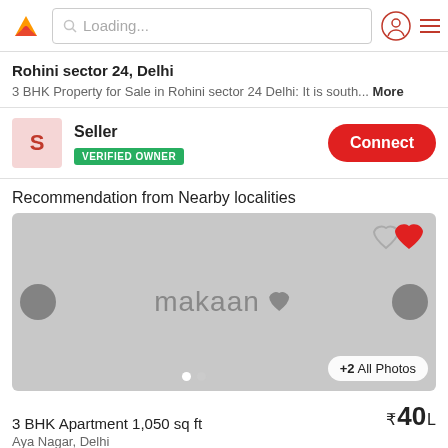Loading...
Rohini sector 24, Delhi
3 BHK Property for Sale in Rohini sector 24 Delhi: It is south... More
Seller
VERIFIED OWNER
Recommendation from Nearby localities
[Figure (photo): Property listing image placeholder showing makaan watermark with heart icons and navigation arrows. Shows +2 All Photos button.]
3 BHK Apartment 1,050 sq ft
₹40 L
Aya Nagar, Delhi